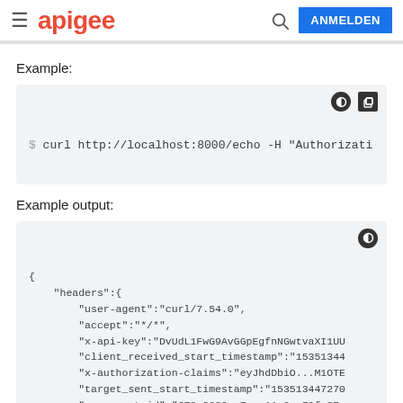apigee — ANMELDEN
Example:
$ curl http://localhost:8000/echo -H "Authorizati
Example output:
{
    "headers":{
        "user-agent":"curl/7.54.0",
        "accept":"*/*",
        "x-api-key":"DvUdL1FwG9AvGGpEgfnNGwtvaXI1UU
        "client_received_start_timestamp":"15351344
        "x-authorization-claims":"eyJhdDbiO...M1OTE
        "target_sent_start_timestamp":"153513447270
        "x-request-id":"678e3080-a7ae-11e8-a70f-87a